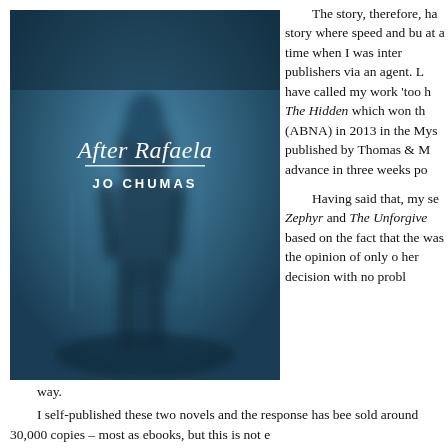[Figure (illustration): Book cover of 'After Rafaela' by Jo Chumas — dark blue blurred silhouette of a woman standing, with title text in white serif font and author name in white caps below a horizontal line.]
The story, therefore, ha story where speed and bu at a time when I was inter publishers via an agent. L have called my work 'too h The Hidden which won th (ABNA) in 2013 in the Mys published by Thomas & M advance in three weeks po
Having said that, my se Zephyr and The Unforgive based on the fact that the was the opinion of only o her decision with no probl way.
I self-published these two novels and the response has bee sold around 30,000 copies – most as ebooks, but this is not e